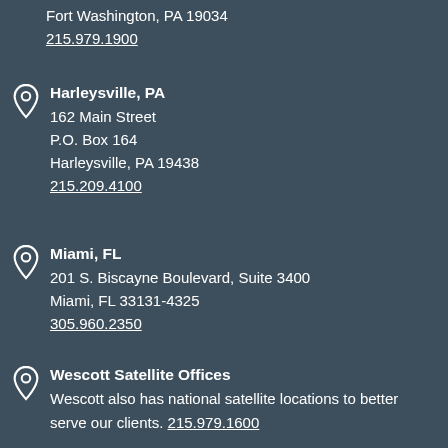Fort Washington, PA 19034
215.979.1900
Harleysville, PA
162 Main Street
P.O. Box 164
Harleysville, PA 19438
215.209.4100
Miami, FL
201 S. Biscayne Boulevard, Suite 3400
Miami, FL 33131-4325
305.960.2350
Wescott Satellite Offices
Wescott also has national satellite locations to better serve our clients. 215.979.1600